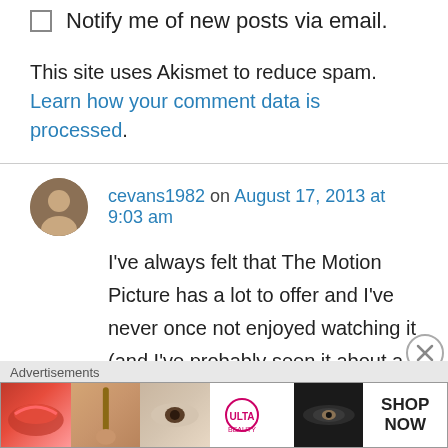Notify me of new posts via email.
This site uses Akismet to reduce spam. Learn how your comment data is processed.
cevans1982 on August 17, 2013 at 9:03 am
I've always felt that The Motion Picture has a lot to offer and I've never once not enjoyed watching it (and I've probably seen it about a hundred times along with all the other Trek films).
[Figure (photo): Advertisement banner showing makeup/beauty products including lips, brush, eye makeup, ULTA beauty logo, and SHOP NOW call to action.]